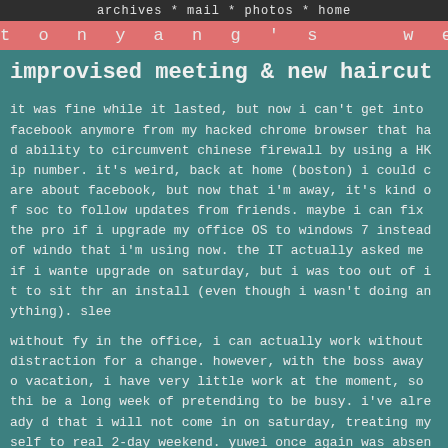archives * mail * photos * home
tony yang's weblog
improvised meeting & new haircut
it was fine while it lasted, but now i can't get into facebook anymore from my hacked chrome browser that had ability to circumvent chinese firewall by using a HK ip number. it's weird, back at home (boston) i could care about facebook, but now that i'm away, it's kind of soc to follow updates from friends. maybe i can fix the pro if i upgrade my office OS to windows 7 instead of windo that i'm using now. the IT actually asked me if i wante upgrade on saturday, but i was too out of it to sit thr an install (even though i wasn't doing anything). slee
without fy in the office, i can actually work without distraction for a change. however, with the boss away o vacation, i have very little work at the moment, so thi be a long week of pretending to be busy. i've already d that i will not come in on saturday, treating myself to real 2-day weekend. yuwei once again was absent. appare taking saturday off without telling us wasn't enough, a she's extending it into a long weekend. unfortunately s in charge of pricing material and construction work so without her all our claims grind to a halt.
these boat shoes are terrible. designed for boats, the